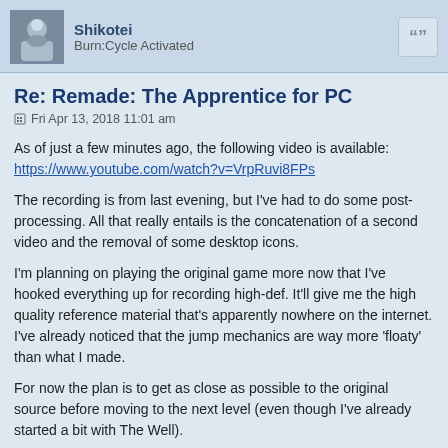Shikotei
Burn:Cycle Activated
Re: Remade: The Apprentice for PC
Fri Apr 13, 2018 11:01 am
As of just a few minutes ago, the following video is available:
https://www.youtube.com/watch?v=VrpRuvi8FPs
The recording is from last evening, but I've had to do some post-processing. All that really entails is the concatenation of a second video and the removal of some desktop icons.
I'm planning on playing the original game more now that I've hooked everything up for recording high-def. It'll give me the high quality reference material that's apparently nowhere on the internet. I've already noticed that the jump mechanics are way more 'floaty' than what I made.
For now the plan is to get as close as possible to the original source before moving to the next level (even though I've already started a bit with The Well).
Play The Apprentice on PC!